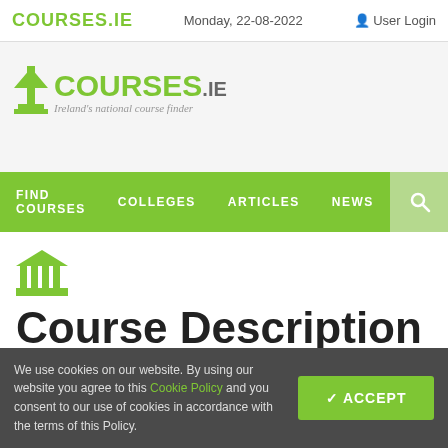COURSES.IE   Monday, 22-08-2022   User Login
[Figure (logo): Courses.ie logo with green arrow icon and tagline 'Ireland's national course finder']
[Figure (infographic): Green navigation bar with menu items: FIND COURSES, COLLEGES, ARTICLES, NEWS and a search icon]
[Figure (illustration): Green building/institution icon (pillars)]
Course Description
We use cookies on our website. By using our website you agree to this Cookie Policy and you consent to our use of cookies in accordance with the terms of this Policy.